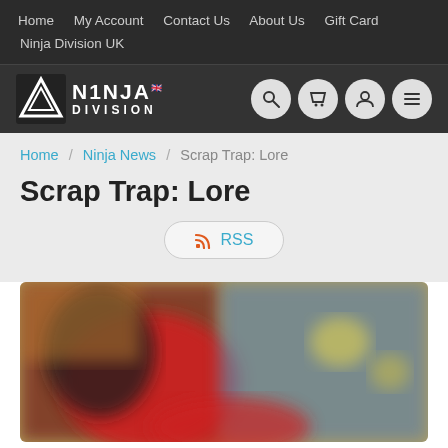Home  My Account  Contact Us  About Us  Gift Card  Ninja Division UK
[Figure (logo): Ninja Division logo with triangle symbol, white text on dark background, with four circular icon buttons for search, cart, account, and menu]
Home / Ninja News / Scrap Trap: Lore
Scrap Trap: Lore
RSS
[Figure (photo): Blurred photograph showing colorful game miniatures or artwork with red and warm tones on the left and blue/yellow tones on the right]